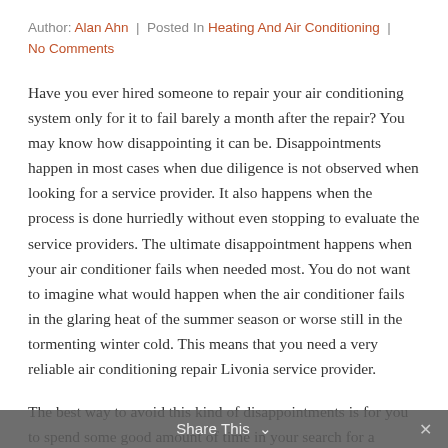Author: Alan Ahn | Posted In Heating And Air Conditioning | No Comments
Have you ever hired someone to repair your air conditioning system only for it to fail barely a month after the repair? You may know how disappointing it can be. Disappointments happen in most cases when due diligence is not observed when looking for a service provider. It also happens when the process is done hurriedly without even stopping to evaluate the service providers. The ultimate disappointment happens when your air conditioner fails when needed most. You do not want to imagine what would happen when the air conditioner fails in the glaring heat of the summer season or worse still in the tormenting winter cold. This means that you need a very reliable air conditioning repair Livonia service provider.
The best way to avoid this kind of disappointments is for you to spend some good amount of time in your search for a service provider. This does not mean that you take days on end looking for a provider. This process can be accomplished
Share This